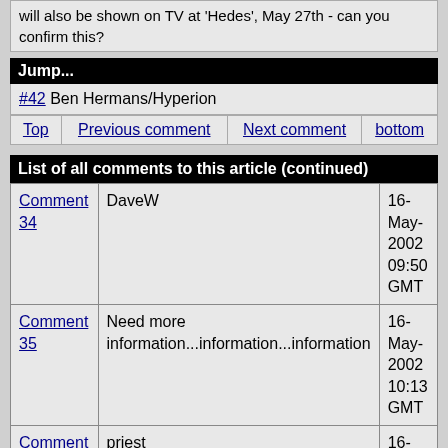will also be shown on TV at 'Hedes', May 27th - can you confirm this?
Jump...
#42 Ben Hermans/Hyperion
| Top | Previous comment | Next comment | bottom |
| --- | --- | --- | --- |
List of all comments to this article (continued)
|  |  |  |
| --- | --- | --- |
| Comment 34 | DaveW | 16-May-2002 09:50 GMT |
| Comment 35 | Need more information...information...information | 16-May-2002 10:13 GMT |
| Comment 36 | priest | 16-May-2002 10:20 GMT |
|  |  | 16-May- |